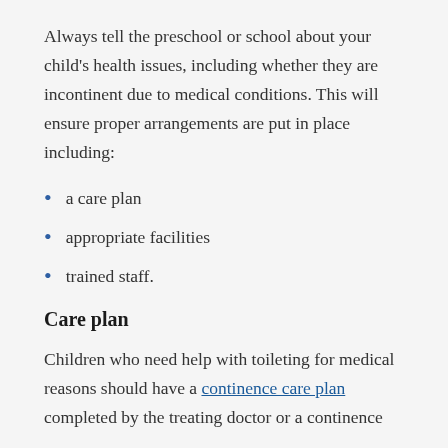Always tell the preschool or school about your child's health issues, including whether they are incontinent due to medical conditions. This will ensure proper arrangements are put in place including:
a care plan
appropriate facilities
trained staff.
Care plan
Children who need help with toileting for medical reasons should have a continence care plan completed by the treating doctor or a continence